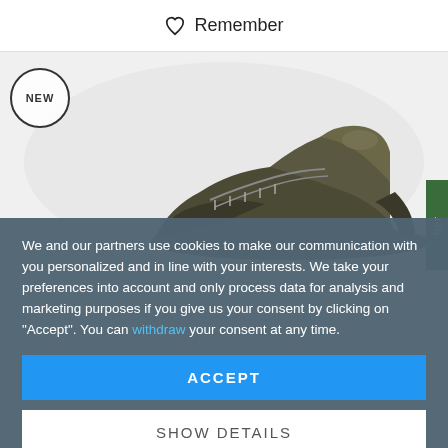♡ Remember
[Figure (photo): Dark olive/khaki high-top sneaker shoe displayed on white background with NEW badge circular label in top-left and a green vertical tab on the right edge]
We and our partners use cookies to make our communication with you personalized and in line with your interests. We take your preferences into account and only process data for analysis and marketing purposes if you give us your consent by clicking on "Accept". You can withdraw your consent at any time.
ACCEPT
SHOW DETAILS
Imprint | Privacy Policy